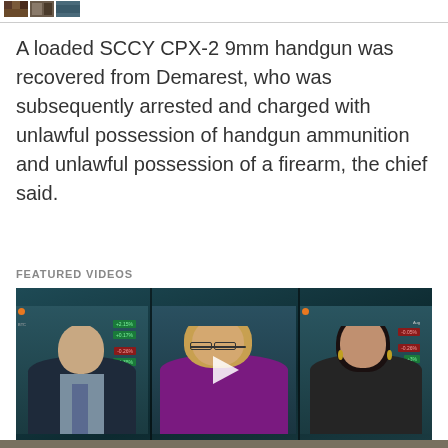[Figure (photo): Small thumbnail strip of images in top left corner]
A loaded SCCY CPX-2 9mm handgun was recovered from Demarest, who was subsequently arrested and charged with unlawful possession of handgun ammunition and unlawful possession of a firearm, the chief said.
FEATURED VIDEOS
[Figure (screenshot): Video player showing three news panelists (two men/women on sides, woman in center with glasses) on a dark teal news background with stock ticker overlays. A white play button triangle is centered over the middle panelist.]